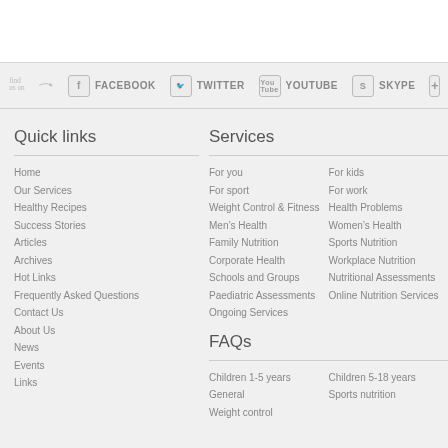Find us on: FACEBOOK  TWITTER  YOUTUBE  SKYPE  +
Quick links
Home
Our Services
Healthy Recipes
Success Stories
Articles
Archives
Hot Links
Frequently Asked Questions
Contact Us
About Us
News
Events
Links
Services
For you
For sport
Weight Control & Fitness
Men's Health
Family Nutrition
Corporate Health
Schools and Groups
Paediatric Assessments
Ongoing Services
For kids
For work
Health Problems
Women's Health
Sports Nutrition
Workplace Nutrition
Nutritional Assessments
Online Nutrition Services
FAQs
Children 1-5 years
General
Weight control
Children 5-18 years
Sports nutrition